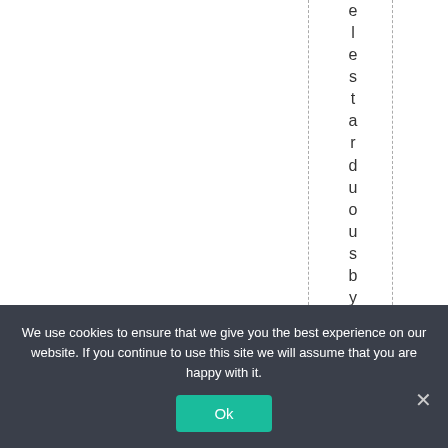[Figure (other): A vertical column of letters spelling 'elestarduousbyal lo' arranged letter by letter from top to bottom, centered between two vertical dashed lines forming a column guide.]
We use cookies to ensure that we give you the best experience on our website. If you continue to use this site we will assume that you are happy with it. Ok